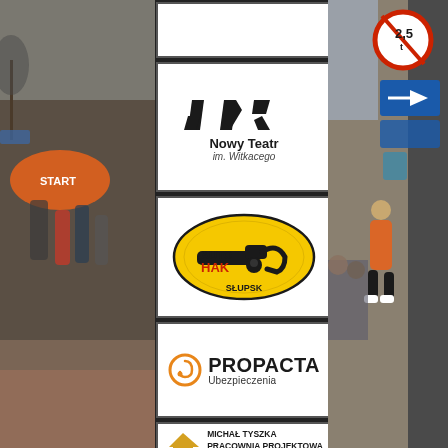[Figure (photo): Left side photo of runners at a race start with orange START arch inflatable]
[Figure (logo): Empty white box (first logo slot, partially visible top)]
[Figure (logo): Nowy Teatr im. Witkacego logo with geometric black shape marks and text]
[Figure (logo): Auto Hak Słupsk logo - yellow oval with tow hitch image and text AUTO HAK SŁUPSK]
[Figure (logo): Propacta Ubezpieczenia logo with orange spiral icon and bold text]
[Figure (logo): Michał Tyszka Pracownia Projektowa Konstruuje Budiwlane logo with house icon]
[Figure (photo): Right side photo of street with road signs and people, runner in orange vest]